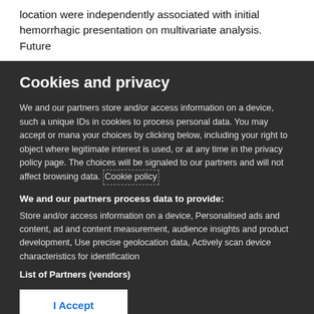location were independently associated with initial hemorrhagic presentation on multivariate analysis. Future
Cookies and privacy
We and our partners store and/or access information on a device, such as unique IDs in cookies to process personal data. You may accept or manage your choices by clicking below, including your right to object where legitimate interest is used, or at any time in the privacy policy page. These choices will be signaled to our partners and will not affect browsing data. Cookie policy
We and our partners process data to provide:
Store and/or access information on a device, Personalised ads and content, ad and content measurement, audience insights and product development, Use precise geolocation data, Actively scan device characteristics for identification
List of Partners (vendors)
I Accept